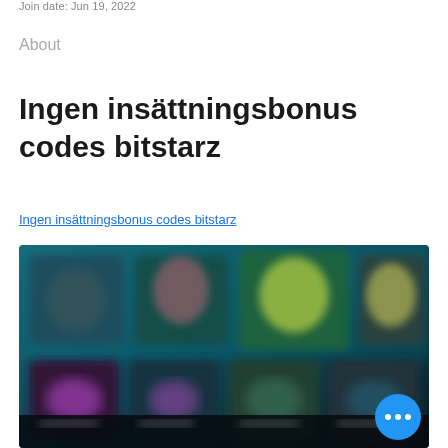Join date: Jun 19, 2022
About
Ingen insättningsbonus codes bitstarz
Ingen insättningsbonus codes bitstarz
[Figure (screenshot): Blurred screenshot of an online casino game lobby with colorful game thumbnails on a dark teal/black background.]